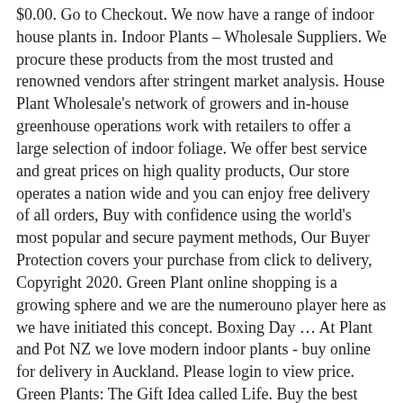$0.00. Go to Checkout. We now have a range of indoor house plants in. Indoor Plants – Wholesale Suppliers. We procure these products from the most trusted and renowned vendors after stringent market analysis. House Plant Wholesale's network of growers and in-house greenhouse operations work with retailers to offer a large selection of indoor foliage. We offer best service and great prices on high quality products, Our store operates a nation wide and you can enjoy free delivery of all orders, Buy with confidence using the world's most popular and secure payment methods, Our Buyer Protection covers your purchase from click to delivery, Copyright 2020. Green Plant online shopping is a growing sphere and we are the numerouno player here as we have initiated this concept. Boxing Day … At Plant and Pot NZ we love modern indoor plants - buy online for delivery in Auckland. Please login to view price. Green Plants: The Gift Idea called Life. Buy the best Indoor Exotic and Tropical plants from Exotic Planters 2,000 sqm nursery situated in Avondale, Auckland. Quality indoor plant pots, many handmade and unique pieces. Indoor Plants Indoor Plants. Zealandia Horticulture grow millions of plants a year for all New Zealand – healthy, strong plants grown with precision and care. Check out our wide range of indoor plants from brands you know & trust. Shop online now. Contact . [email protected] Home Shop Planter Back to Shop 0 items. Register Now. Edibles. As plants are seasonal in nature, please contact us to confirm current availability. Succulents, Airplants, Cacti, Aloe, Fiddle Figs, Bonsai, Ficus plants & more. Refine & Sort. Indoor